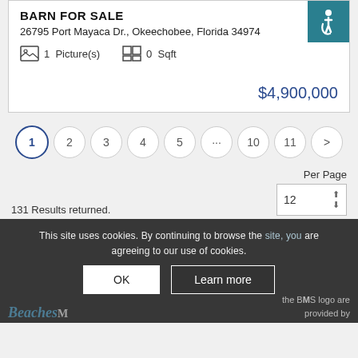BARN FOR SALE
26795 Port Mayaca Dr., Okeechobee, Florida 34974
1  Picture(s)   0  Sqft
$4,900,000
1 2 3 4 5 ... 10 11 >
131 Results returned.
Per Page 12
This site uses cookies. By continuing to browse the site, you are agreeing to our use of cookies.
OK
Learn more
the BMS logo are provided by
BeachesMLS